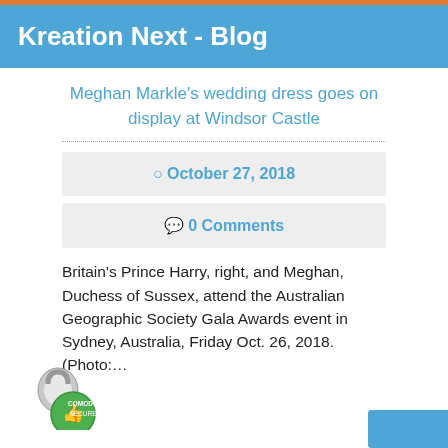Kreation Next - Blog
Meghan Markle's wedding dress goes on display at Windsor Castle
October 27, 2018
0 Comments
Britain's Prince Harry, right, and Meghan, Duchess of Sussex, attend the Australian Geographic Society Gala Awards event in Sydney, Australia, Friday Oct. 26, 2018. (Photo:…